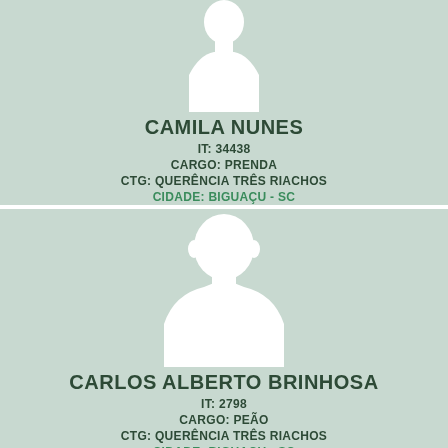[Figure (illustration): Female silhouette placeholder avatar on green background for Camila Nunes]
CAMILA NUNES
IT: 34438
CARGO: PRENDA
CTG: QUERÊNCIA TRÊS RIACHOS
CIDADE: BIGUAÇU - SC
[Figure (illustration): Male silhouette placeholder avatar on green background for Carlos Alberto Brinhosa]
CARLOS ALBERTO BRINHOSA
IT: 2798
CARGO: PEÃO
CTG: QUERÊNCIA TRÊS RIACHOS
CIDADE: BIGUAÇU - SC